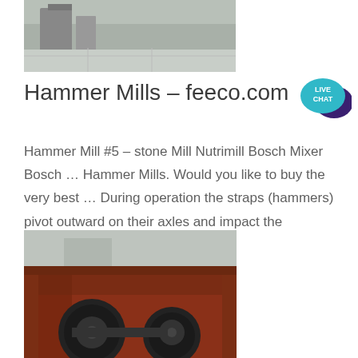[Figure (photo): Partial top view of industrial equipment on a concrete floor, gray tones]
Hammer Mills - feeco.com
Hammer Mill #5 – stone Mill Nutrimill Bosch Mixer Bosch … Hammer Mills. Would you like to buy the very best … During operation the straps (hammers) pivot outward on their axles and impact the material fed into the mill, …
[Figure (photo): Red/rust-colored industrial hammer mill conveyor trough with large round drum/wheel components visible inside, photographed outdoors at an industrial facility]